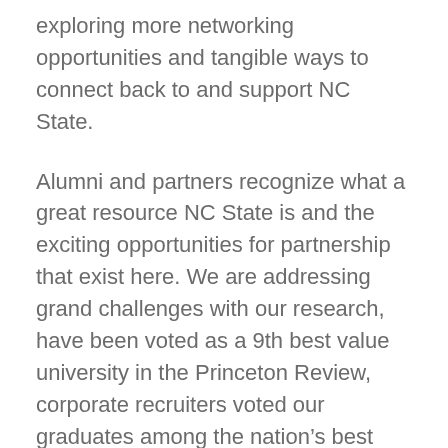exploring more networking opportunities and tangible ways to connect back to and support NC State.
Alumni and partners recognize what a great resource NC State is and the exciting opportunities for partnership that exist here. We are addressing grand challenges with our research, have been voted as a 9th best value university in the Princeton Review, corporate recruiters voted our graduates among the nation's best prepared and Technology Review's 2011 listed our renewable energy work among the world's 10 most important emerging technologies. We are telling our stories of success and our alumni and friends are well aware of our accomplishments. Their pride is growing.